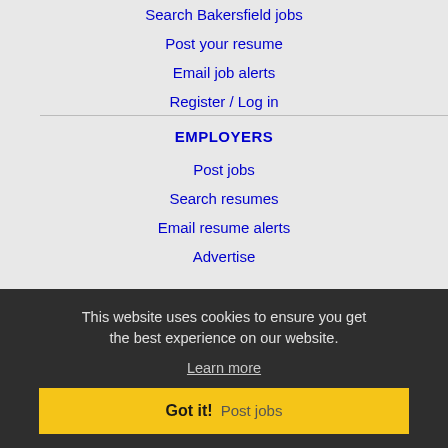Search Bakersfield jobs
Post your resume
Email job alerts
Register / Log in
EMPLOYERS
Post jobs
Search resumes
Email resume alerts
Advertise
IMMIGRATION SPECIALISTS
Post jobs
Immigration FAQs
Learn more
This website uses cookies to ensure you get the best experience on our website.
Learn more
Got it!  Post jobs